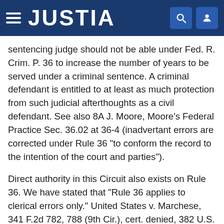JUSTIA
sentencing judge should not be able under Fed. R. Crim. P. 36 to increase the number of years to be served under a criminal sentence. A criminal defendant is entitled to at least as much protection from such judicial afterthoughts as a civil defendant. See also 8A J. Moore, Moore's Federal Practice Sec. 36.02 at 36-4 (inadvertant errors are corrected under Rule 36 "to conform the record to the intention of the court and parties").
Direct authority in this Circuit also exists on Rule 36. We have stated that "Rule 36 applies to clerical errors only." United States v. Marchese, 341 F.2d 782, 788 (9th Cir.), cert. denied, 382 U.S. 817, 86 S. Ct. 41, 15 L. Ed. 2d 64 (1965). See also 3 Wright, Federal Practice and Procedure Sec. 611 at 527 (2d ed. 1982), which approvingly cites Nicholson v. United States, 303 F.2d 161 (9th Cir. 1962), for the proposition that if the error